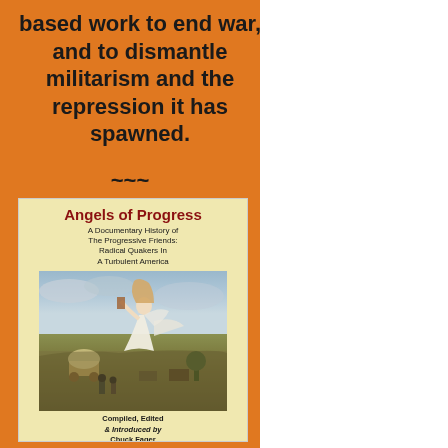based work to end war, and to dismantle militarism and the repression it has spawned.
~~~
[Figure (illustration): Book cover for 'Angels of Progress: A Documentary History of The Progressive Friends: Radical Quakers In A Turbulent America', compiled, edited & introduced by Chuck Fager. Cover features a painting of a female angelic figure in white flowing dress floating above a frontier landscape with wagons, horses, and settlers. The cover background is cream/yellow.]